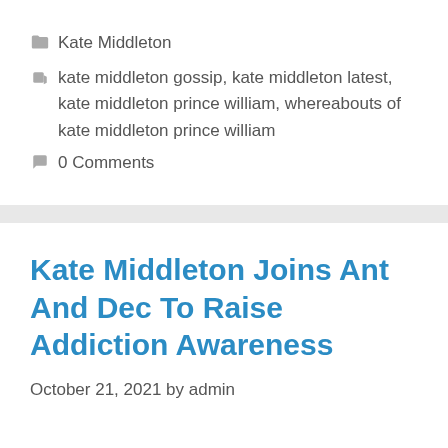📁 Kate Middleton
🏷 kate middleton gossip, kate middleton latest, kate middleton prince william, whereabouts of kate middleton prince william
💬 0 Comments
Kate Middleton Joins Ant And Dec To Raise Addiction Awareness
October 21, 2021 by admin